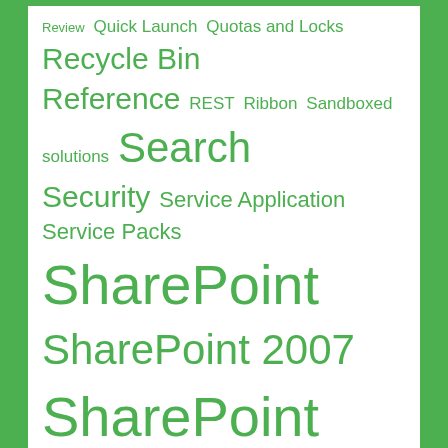[Figure (infographic): A tag cloud of SharePoint-related topics displayed in varying green font sizes on a white background with a green border. Terms include: Review, Quick Launch, Quotas and Locks, Recycle Bin, Reference, REST, Ribbon, Sandboxed solutions, Search, Security, Service Application, Service Packs, SharePoint, SharePoint 2007, SharePoint 2010, SharePoint 2013, SharePoint 2016, SharePoint 2019, SharePoint Admin Center, SharePoint Basics, SharePoint Database, SharePoint Designer, SharePoint Designer 2013, SharePoint Development, SharePoint Foundation, SharePoint Framework (SPFx), SharePoint Online, SharePoint Online Management Shell, SharePoint Products]